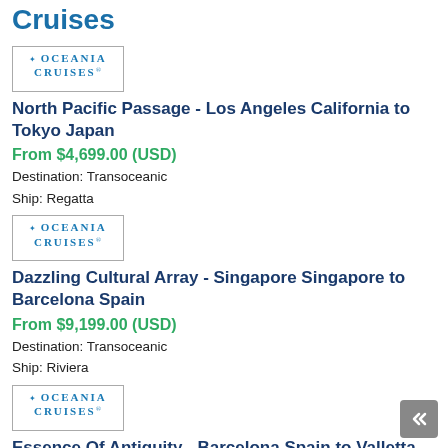Cruises
[Figure (logo): Oceania Cruises logo in a bordered box]
North Pacific Passage - Los Angeles California to Tokyo Japan
From $4,699.00 (USD)
Destination: Transoceanic
Ship: Regatta
[Figure (logo): Oceania Cruises logo in a bordered box]
Dazzling Cultural Array - Singapore Singapore to Barcelona Spain
From $9,199.00 (USD)
Destination: Transoceanic
Ship: Riviera
[Figure (logo): Oceania Cruises logo in a bordered box]
Essence Of Antiquity - Barcelona Spain to Valletta Malta
From $3,299.00 (USD)
Destination: Europe